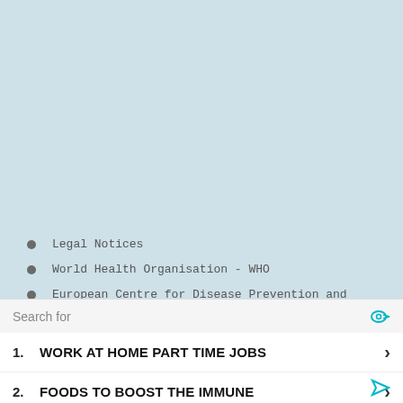[Figure (other): Light blue background area occupying top portion of page]
Legal Notices
World Health Organisation - WHO
European Centre for Disease Prevention and Control –
Search for
1. WORK AT HOME PART TIME JOBS
2. FOODS TO BOOST THE IMMUNE